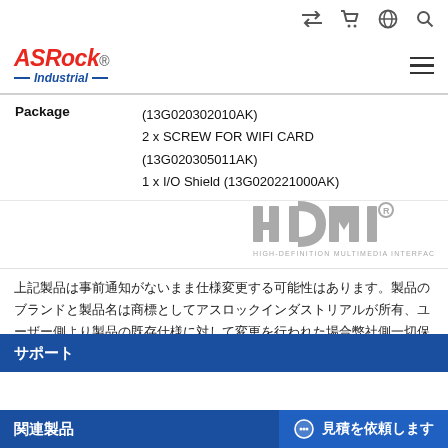ASRock Industrial - navigation bar with icons
[Figure (logo): ASRock Industrial logo - red italic text 'ASRock' with blue 'Industrial' below]
| Package | Items |
| --- | --- |
| Package | (13G020302010AK)
2 x SCREW FOR WIFI CARD (13G020305011AK)
1 x I/O Shield (13G020221000AK) |
[Figure (logo): HDMI logo - HIGH-DEFINITION MULTIMEDIA INTERFACE]
上記製品は事前通知がないまま仕様変更する可能性はあります。製品のブランドと製品名は商標としてアスロックインダストリアルが所有、ユーザー側より製品の既存仕様に対して変更を行われた場合弊社側一切保証を付けません。
サポート
関連製品